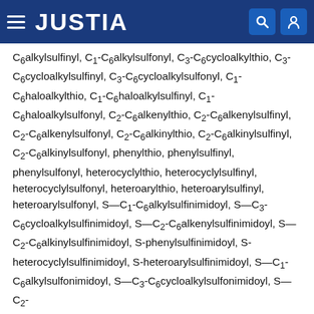JUSTIA
C6alkylsulfinyl, C1-C6alkylsulfonyl, C3-C6cycloalkylthio, C3-C6cycloalkylsulfinyl, C3-C6cycloalkylsulfonyl, C1-C6haloalkylthio, C1-C6haloalkylsulfinyl, C1-C6haloalkylsulfonyl, C2-C6alkenylthio, C2-C6alkenylsulfinyl, C2-C6alkenylsulfonyl, C2-C6alkinylthio, C2-C6alkinylsulfinyl, C2-C6alkinylsulfonyl, phenylthio, phenylsulfinyl, phenylsulfonyl, heterocyclylthio, heterocyclylsulfinyl, heterocyclylsulfonyl, heteroarylthio, heteroarylsulfinyl, heteroarylsulfonyl, S—C1-C6alkylsulfinimidoyl, S—C3-C6cycloalkylsulfinimidoyl, S—C2-C6alkenylsulfinimidoyl, S—C2-C6alkinylsulfinimidoyl, S-phenylsulfinimidoyl, S-heterocyclylsulfinimidoyl, S-heteroarylsulfinimidoyl, S—C1-C6alkylsulfonimidoyl, S—C3-C6cycloalkylsulfonimidoyl, S—C2-